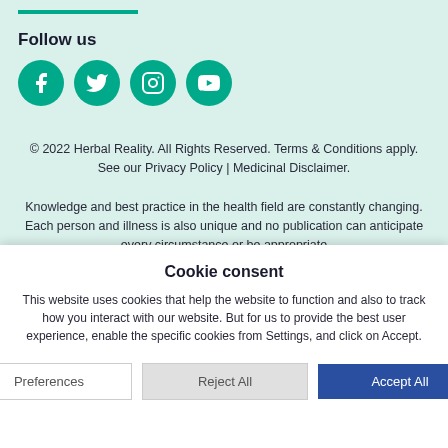Follow us
[Figure (illustration): Four social media icons (Facebook, Twitter, Instagram, YouTube) as white symbols on teal circular backgrounds]
© 2022 Herbal Reality. All Rights Reserved. Terms & Conditions apply. See our Privacy Policy | Medicinal Disclaimer.
Knowledge and best practice in the health field are constantly changing. Each person and illness is also unique and no publication can anticipate every circumstance or be appropriate
Cookie consent
This website uses cookies that help the website to function and also to track how you interact with our website. But for us to provide the best user experience, enable the specific cookies from Settings, and click on Accept.
Preferences | Reject All | Accept All